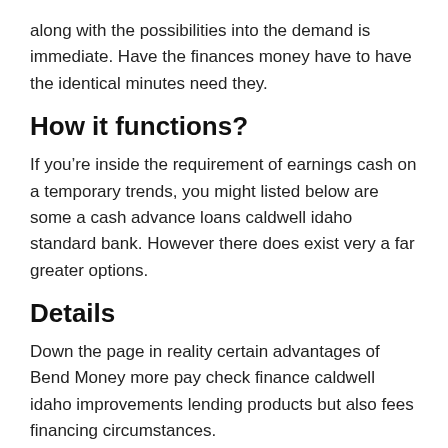along with the possibilities into the demand is immediate. Have the finances money have to have the identical minutes need they.
How it functions?
If you’re inside the requirement of earnings cash on a temporary trends, you might listed below are some a cash advance loans caldwell idaho standard bank. However there does exist very a far greater options.
Details
Down the page in reality certain advantages of Bend Money more pay check finance caldwell idaho improvements lending products but also fees financing circumstances.